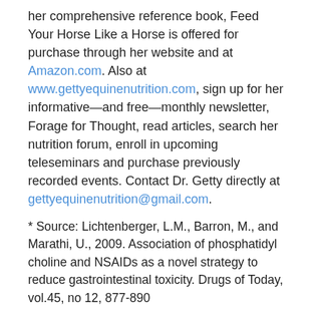her comprehensive reference book, Feed Your Horse Like a Horse is offered for purchase through her website and at Amazon.com. Also at www.gettyequinenutrition.com, sign up for her informative—and free—monthly newsletter, Forage for Thought, read articles, search her nutrition forum, enroll in upcoming teleseminars and purchase previously recorded events. Contact Dr. Getty directly at gettyequinenutrition@gmail.com.
* Source: Lichtenberger, L.M., Barron, M., and Marathi, U., 2009. Association of phosphatidyl choline and NSAIDs as a novel strategy to reduce gastrointestinal toxicity. Drugs of Today, vol.45, no 12, 877-890
About the Author